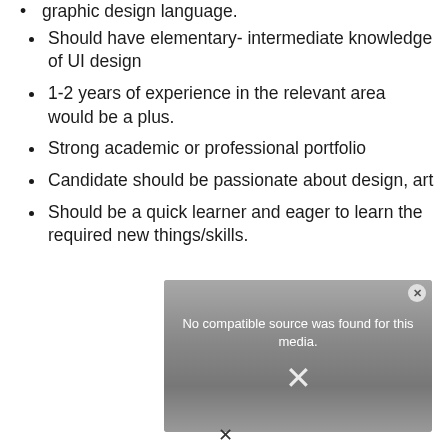graphic design language.
Should have elementary- intermediate knowledge of UI design
1-2 years of experience in the relevant area would be a plus.
Strong academic or professional portfolio
Candidate should be passionate about design, art
Should be a quick learner and eager to learn the required new things/skills.
[Figure (screenshot): A video player UI showing 'No compatible source was found for this media.' with an X close button and a background image, partially visible.]